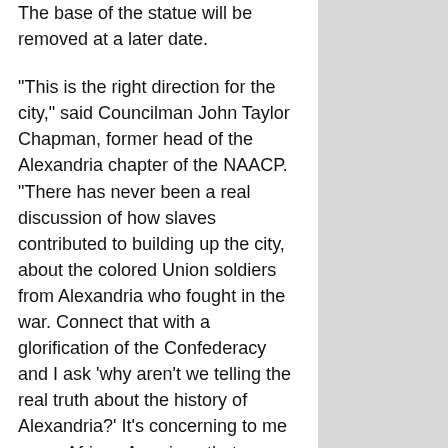The base of the statue will be removed at a later date.
“This is the right direction for the city,” said Councilman John Taylor Chapman, former head of the Alexandria chapter of the NAACP. “There has never been a real discussion of how slaves contributed to building up the city, about the colored Union soldiers from Alexandria who fought in the war. Connect that with a glorification of the Confederacy and I ask ‘why aren't we telling the real truth about the history of Alexandria?’ It's concerning to me as an African American that our history wasn't told. Only recently have we started to do that work.”
Technically the law allowing for relocation of the Appomattox Statue does not take effect until July 1, but Chapman said the city was not going to fight the UDC for its early removal.
“They knew this was coming down and used the current situation as an opportunity to move up